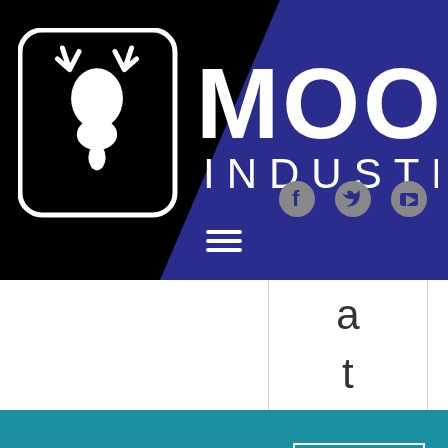[Figure (logo): Moose Industries logo: white moose head icon in rounded rectangle on left, large bold white text 'MOOSE' on top right and 'INDUSTRIES' in spaced capitals below, all on black background with blue diagonal design element]
[Figure (infographic): Social media icons: Facebook circle icon, Twitter bird icon, YouTube play button icon, all in gray on dark blue background]
[Figure (infographic): Hamburger menu icon: three horizontal white lines on black background]
a
t
We use cookies to ensure that we give you the best experience on our website. If you continue to use this site we will assume that you are happy with it.
ACCEPT
Privacy Policy